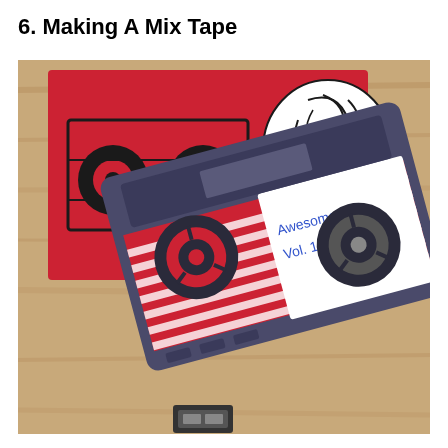6. Making A Mix Tape
[Figure (photo): A photograph of a cassette tape labeled 'Awesome Mix Vol. 1' in blue handwriting, with red and white striped design, resting on a wooden surface next to a red book/box with a black cassette tape illustration on the cover and tangled tape drawn on it. A USB connector is visible at the bottom of the cassette.]